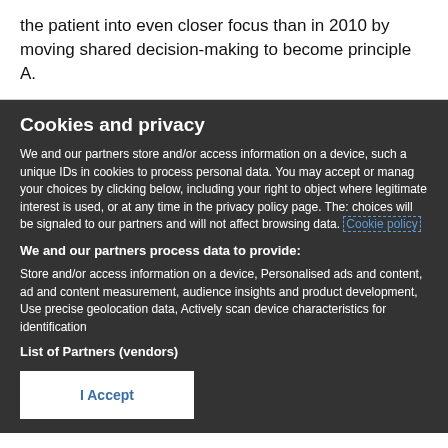the patient into even closer focus than in 2010 by moving shared decision-making to become principle A.
Cookies and privacy
We and our partners store and/or access information on a device, such as unique IDs in cookies to process personal data. You may accept or manage your choices by clicking below, including your right to object where legitimate interest is used, or at any time in the privacy policy page. These choices will be signaled to our partners and will not affect browsing data. Cookie policy
We and our partners process data to provide:
Store and/or access information on a device, Personalised ads and content, ad and content measurement, audience insights and product development, Use precise geolocation data, Actively scan device characteristics for identification
List of Partners (vendors)
I Accept